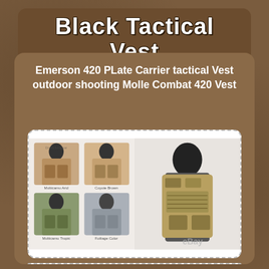Black Tactical Vest
Emerson 420 PLate Carrier tactical Vest outdoor shooting Molle Combat 420 Vest
[Figure (photo): Product photo showing multiple color variants of the Emerson 420 plate carrier tactical vest (Multicamo Arid, Coyote Brown, Multicamo Tropic, Foliage Color, Multicamo Attack, Black) on mannequins on the left side, and a larger close-up of the Multicamo variant on a black mannequin torso on the right side. eBay watermark visible.]
[Figure (photo): Partial view of another product photo showing a black vest with skull/Punisher logo patch on a mannequin torso, partially visible at bottom of page.]